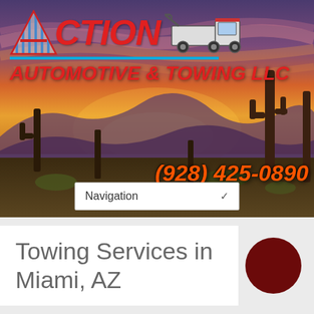[Figure (illustration): Hero banner with Arizona desert sunset background showing saguaro cacti silhouettes, orange and purple sky. Contains Action Automotive & Towing LLC logo with tow truck graphic, blue underline, red italic company name text, phone number (928) 425-0890 in orange, and Navigation dropdown.]
Towing Services in Miami, AZ